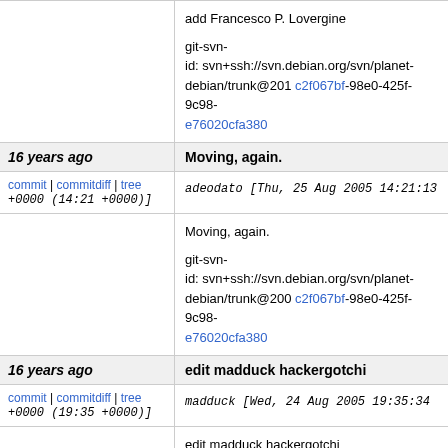add Francesco P. Lovergine

git-svn-id: svn+ssh://svn.debian.org/svn/planet-debian/trunk@201 c2f067bf-98e0-425f-9c98-e76020cfa380
16 years ago | Moving, again.
commit | commitdiff | tree adeodato [Thu, 25 Aug 2005 14:21:13 +0000 (14:21 +0000)]
Moving, again.

git-svn-id: svn+ssh://svn.debian.org/svn/planet-debian/trunk@200 c2f067bf-98e0-425f-9c98-e76020cfa380
16 years ago | edit madduck hackergotchi
commit | commitdiff | tree madduck [Wed, 24 Aug 2005 19:35:34 +0000 (19:35 +0000)]
edit madduck hackergotchi

git-svn-id: svn+ssh://svn.debian.org/svn/planet-